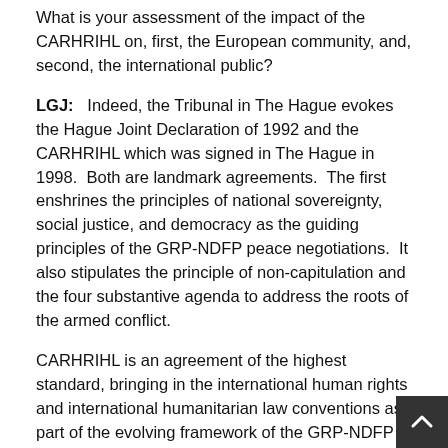What is your assessment of the impact of the CARHRIHL on, first, the European community, and, second, the international public?
LGJ:  Indeed, the Tribunal in The Hague evokes the Hague Joint Declaration of 1992 and the CARHRIHL which was signed in The Hague in 1998.  Both are landmark agreements.  The first enshrines the principles of national sovereignty, social justice, and democracy as the guiding principles of the GRP-NDFP peace negotiations.  It also stipulates the principle of non-capitulation and the four substantive agenda to address the roots of the armed conflict.
CARHRIHL is an agreement of the highest standard, bringing in the international human rights and international humanitarian law conventions as part of the evolving framework of the GRP-NDFP peace negotiations.  The most important international conventions such as the Geneva Conventions and Protocols are adhered to by both Parties and the